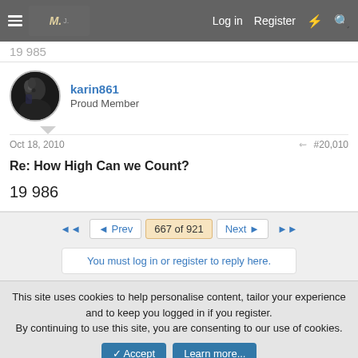Log in  Register
19 985
karin861
Proud Member
Oct 18, 2010  #20,010
Re: How High Can we Count?
19 986
◄◄  ◄ Prev  667 of 921  Next ►  ►►
You must log in or register to reply here.
This site uses cookies to help personalise content, tailor your experience and to keep you logged in if you register.
By continuing to use this site, you are consenting to our use of cookies.
✓ Accept   Learn more...